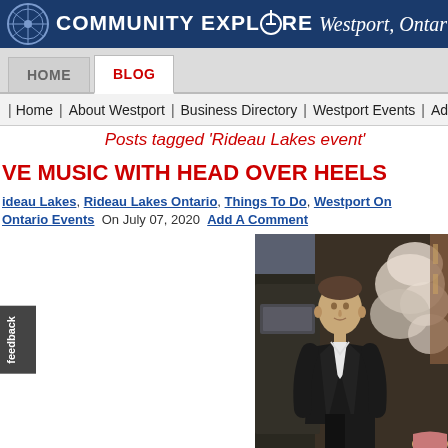COMMUNITY EXPLORE Westport, Ontario
HOME | BLOG
Home | About Westport | Business Directory | Westport Events | Adv
Posts tagged 'Rideau Lakes event'
VE MUSIC WITH HEAD OVER HEELS
ideau Lakes, Rideau Lakes Ontario, Things To Do, Westport On Ontario Events On July 07, 2020 Add A Comment
[Figure (photo): Photo of a man standing in front of what appears to be a vintage vehicle or backdrop, with a woman partially visible on the right side]